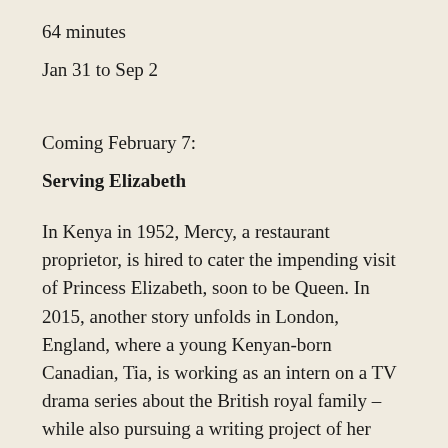64 minutes
Jan 31 to Sep 2
Coming February 7:
Serving Elizabeth
In Kenya in 1952, Mercy, a restaurant proprietor, is hired to cater the impending visit of Princess Elizabeth, soon to be Queen. In 2015, another story unfolds in London, England, where a young Kenyan-born Canadian, Tia, is working as an intern on a TV drama series about the British royal family – while also pursuing a writing project of her own. These parallel narratives seem only coincidentally connected – until a surprising